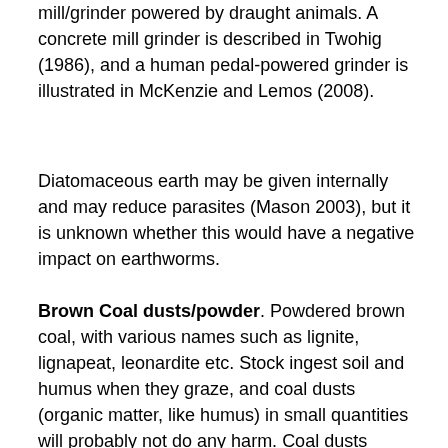mill/grinder powered by draught animals. A concrete mill grinder is described in Twohig (1986), and a human pedal-powered grinder is illustrated in McKenzie and Lemos (2008).
Diatomaceous earth may be given internally and may reduce parasites (Mason 2003), but it is unknown whether this would have a negative impact on earthworms.
Brown Coal dusts/powder. Powdered brown coal, with various names such as lignite, lignapeat, leonardite etc. Stock ingest soil and humus when they graze, and coal dusts (organic matter, like humus) in small quantities will probably not do any harm. Coal dusts should contain a wide range of trace elements and are likely to be high in sulphur. Farmers in South Australia and Victoria have spread coal dust on their pastures, and one farmer in